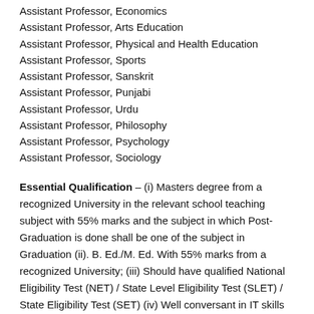Assistant Professor, Economics
Assistant Professor, Arts Education
Assistant Professor, Physical and Health Education
Assistant Professor, Sports
Assistant Professor, Sanskrit
Assistant Professor, Punjabi
Assistant Professor, Urdu
Assistant Professor, Philosophy
Assistant Professor, Psychology
Assistant Professor, Sociology
Essential Qualification – (i) Masters degree from a recognized University in the relevant school teaching subject with 55% marks and the subject in which Post-Graduation is done shall be one of the subject in Graduation (ii). B. Ed./M. Ed. With 55% marks from a recognized University; (iii) Should have qualified National Eligibility Test (NET) / State Level Eligibility Test (SLET) / State Eligibility Test (SET) (iv) Well conversant in IT skills and should have knowledge of effective use of new technologies as tools for learning; v. Hindi/Sanskrit upto Matric Standard or higher education; vi. Consistent good academic